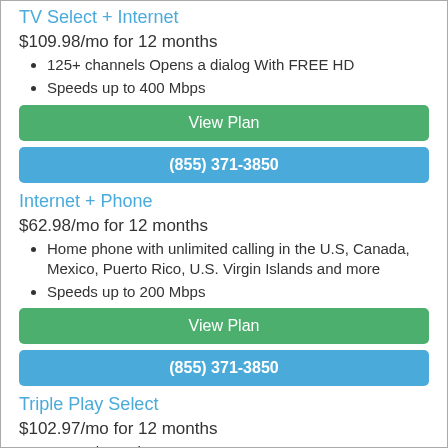TV Select + Internet
$109.98/mo for 12 months
125+ channels Opens a dialog With FREE HD
Speeds up to 400 Mbps
View Plan
(855) 371-3850
Internet + Phone
$62.98/mo for 12 months
Home phone with unlimited calling in the U.S, Canada, Mexico, Puerto Rico, U.S. Virgin Islands and more
Speeds up to 200 Mbps
View Plan
(855) 371-3850
Triple Play Select
$102.97/mo for 12 months
125+ Channels
Speeds up to 200 Mbps.
View Plan